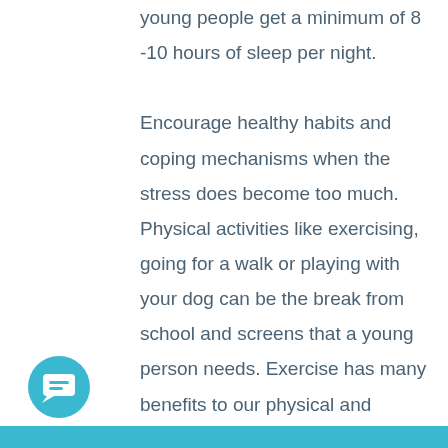young people get a minimum of 8 -10 hours of sleep per night.

Encourage healthy habits and coping mechanisms when the stress does become too much. Physical activities like exercising, going for a walk or playing with your dog can be the break from school and screens that a young person needs. Exercise has many benefits to our physical and mental health. Being outside in the fresh air will also boost energy levels and help young people's ability to focus. Exercise release...
[Figure (illustration): Teal circular chat/message icon button in the bottom-left corner]